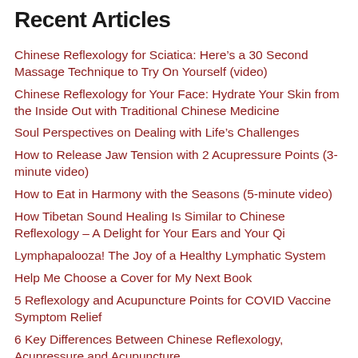Recent Articles
Chinese Reflexology for Sciatica: Here’s a 30 Second Massage Technique to Try On Yourself (video)
Chinese Reflexology for Your Face: Hydrate Your Skin from the Inside Out with Traditional Chinese Medicine
Soul Perspectives on Dealing with Life’s Challenges
How to Release Jaw Tension with 2 Acupressure Points (3-minute video)
How to Eat in Harmony with the Seasons (5-minute video)
How Tibetan Sound Healing Is Similar to Chinese Reflexology – A Delight for Your Ears and Your Qi
Lymphapalooza! The Joy of a Healthy Lymphatic System
Help Me Choose a Cover for My Next Book
5 Reflexology and Acupuncture Points for COVID Vaccine Symptom Relief
6 Key Differences Between Chinese Reflexology, Acupressure and Acupuncture